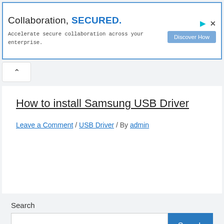[Figure (screenshot): Advertisement banner: 'Collaboration, SECURED.' with blue border, Discover How button, play and close icons. Subtext: 'Accelerate secure collaboration across your enterprise.']
How to install Samsung USB Driver
Leave a Comment / USB Driver / By admin
Search
Recent Posts
Xiaomi Poco M4 Pro 5G USB Driver [ Download ]